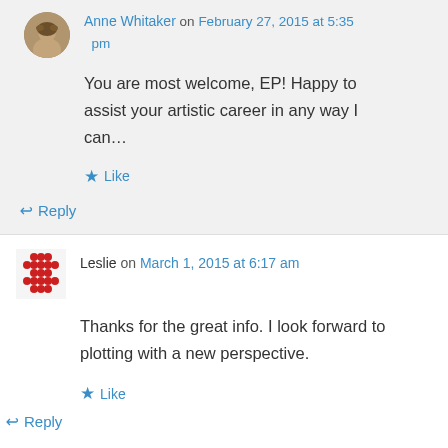Anne Whitaker on February 27, 2015 at 5:35 pm
You are most welcome, EP! Happy to assist your artistic career in any way I can…
Like
Reply
Leslie on March 1, 2015 at 6:17 am
Thanks for the great info. I look forward to plotting with a new perspective.
Like
Reply